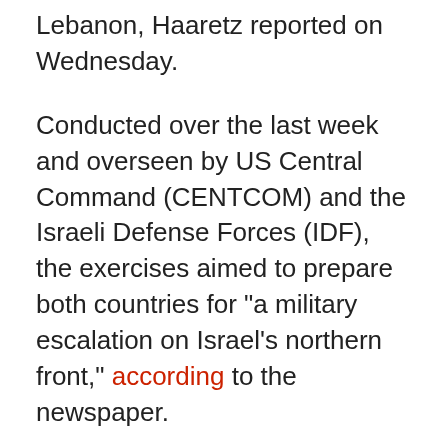Lebanon, Haaretz reported on Wednesday.
Conducted over the last week and overseen by US Central Command (CENTCOM) and the Israeli Defense Forces (IDF), the exercises aimed to prepare both countries for "a military escalation on Israel's northern front," according to the newspaper.
However, while CENTCOM and the IDF gamed out a number of scenarios, the two sides did not discuss the possibility of "active US involvement" in Israeli strikes on Hezbollah, a militant group